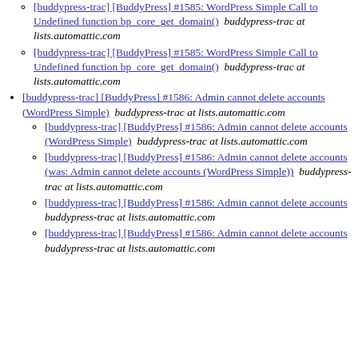[buddypress-trac] [BuddyPress] #1585: WordPress Simple Call to Undefined function bp_core_get_domain()  buddypress-trac at lists.automattic.com
[buddypress-trac] [BuddyPress] #1585: WordPress Simple Call to Undefined function bp_core_get_domain()  buddypress-trac at lists.automattic.com
[buddypress-trac] [BuddyPress] #1586: Admin cannot delete accounts (WordPress Simple)  buddypress-trac at lists.automattic.com
[buddypress-trac] [BuddyPress] #1586: Admin cannot delete accounts (WordPress Simple)  buddypress-trac at lists.automattic.com
[buddypress-trac] [BuddyPress] #1586: Admin cannot delete accounts (was: Admin cannot delete accounts (WordPress Simple))  buddypress-trac at lists.automattic.com
[buddypress-trac] [BuddyPress] #1586: Admin cannot delete accounts  buddypress-trac at lists.automattic.com
[buddypress-trac] [BuddyPress] #1586: Admin cannot delete accounts  buddypress-trac at lists.automattic.com